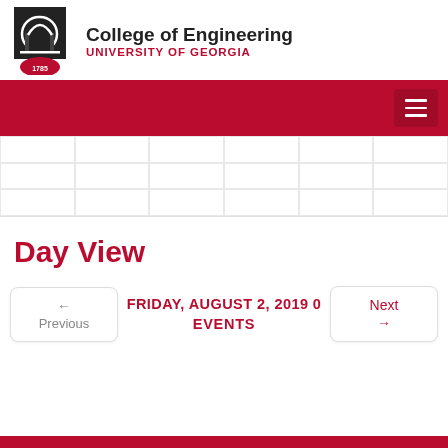[Figure (logo): College of Engineering, University of Georgia logo with arch building icon and UGA seal]
[Figure (other): Red navigation bar with hamburger menu button]
[Figure (other): Grid pattern decorative area]
Day View
← Previous   FRIDAY, AUGUST 2, 2019 0 EVENTS   Next →